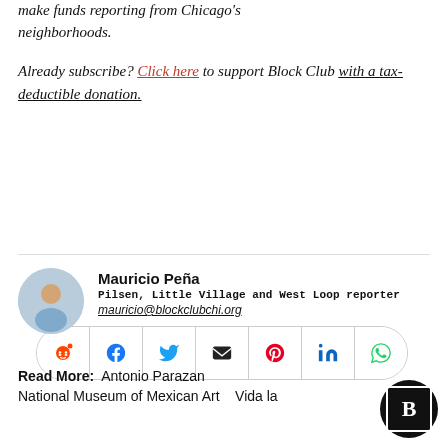make funds reporting from Chicago's neighborhoods.
Already subscribe? Click here to support Block Club with a tax-deductible donation.
[Figure (other): Social sharing bar with icons: Reddit, Facebook, Twitter, Email, Pinterest, LinkedIn, WhatsApp]
Mauricio Peña
Pilsen, Little Village and West Loop reporter
mauricio@blockclubchi.org
Read More: Antonio Parazan
National Museum of Mexican Art  Vida la